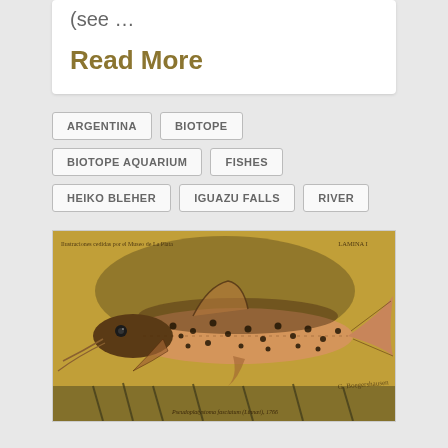(see …
Read More
ARGENTINA
BIOTOPE
BIOTOPE AQUARIUM
FISHES
HEIKO BLEHER
IGUAZU FALLS
RIVER
[Figure (illustration): Vintage scientific illustration of a spotted fish (catfish/surubim species) on an aged orange-yellow background with text 'Ilustraciones cedidas por el Museo de La Plata' and 'LAMINA I' at top corners, with scientific name caption at bottom.]